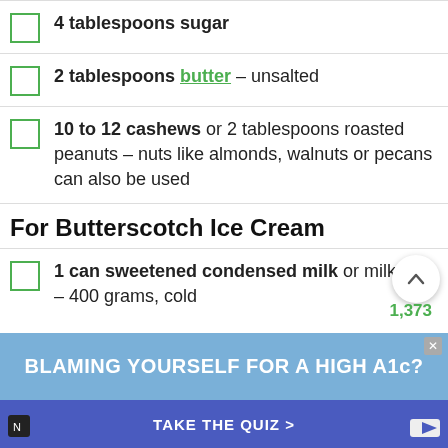4 tablespoons sugar
2 tablespoons butter – unsalted
10 to 12 cashews or 2 tablespoons roasted peanuts – nuts like almonds, walnuts or pecans can also be used
For Butterscotch Ice Cream
1 can sweetened condensed milk or milkmaid – 400 grams, cold
2.75 to 3 cups whipping cream 30% to 50% fat, cold or chilled
BLAMING YOURSELF FOR A HIGH A1c?
TAKE THE QUIZ >